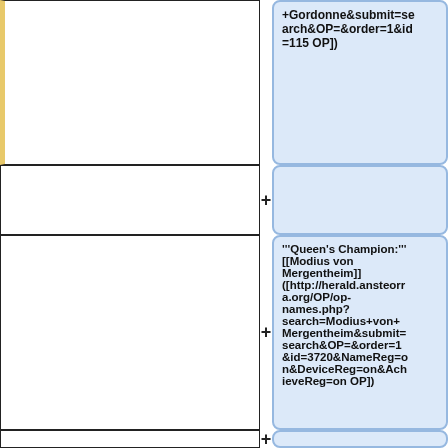[Figure (other): Left column top cell with gold/yellow left border, empty white box]
+Gordonne&submit=search&OP=&order=1&id=115 OP])
[Figure (other): Left column middle cell, empty white box]
+
[Figure (other): Left column large middle cell, empty white box]
'''Queen's Champion:''' [[Modius von Mergentheim]] ([http://herald.ansteorra.org/OP/op-names.php?search=Modius+von+Mergentheim&submit=search&OP=&order=1&id=3720&NameReg=on&DeviceReg=on&AchieveReg=on OP])
[Figure (other): Left column bottom cell, empty white box]